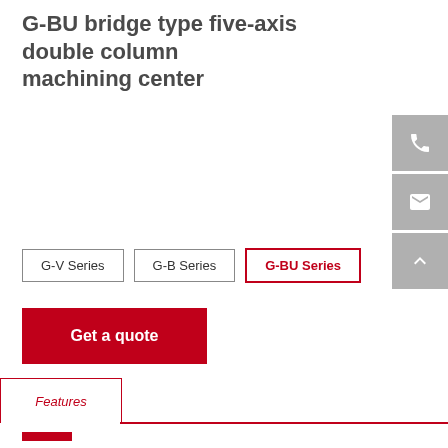G-BU bridge type five-axis double column machining center
[Figure (infographic): Three navigation/action sidebar buttons with icons: phone icon, envelope/email icon, and up-arrow icon, all on gray background]
G-V Series | G-B Series | G-BU Series
Get a quote
Features
Product Characteristics